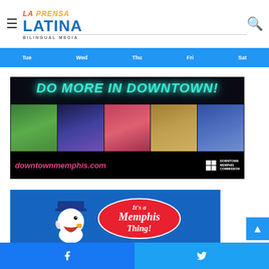La Prensa Latina Bilingual Media — navigation header with hamburger menu and search icon
[Figure (logo): La Prensa Latina Bilingual Media logo — red italic LA, orange italic PRENSA, blue LATINA, gray BILINGUAL MEDIA]
[Figure (infographic): Navigation bar with day labels: Tue, Wed, Thu, Fri, Sat on blue background]
[Figure (photo): DO MORE IN DOWNTOWN! advertisement banner with photo collage showing outdoor events, concerts, shopping, street scenes; includes downtownmemphis.com URL and Downtown Memphis Commission logo]
[Figure (photo): Jack Pirtle's Chicken advertisement on blue background with duck mascot logo and 'It's a Memphis Thing!' slogan oval]
Facebook share button and Twitter share button social bar